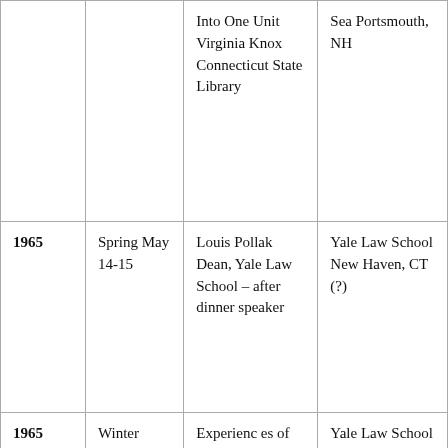|  |  | Into One Unit Virginia Knox Connecticut State Library | Sea Portsmouth, NH |
| 1965 | Spring May 14-15 | Louis Pollak Dean, Yale Law School – after dinner speaker | Yale Law School New Haven, CT (?) |
| 1965 | Winter February | Experiences of Experi... | Yale Law School New... |